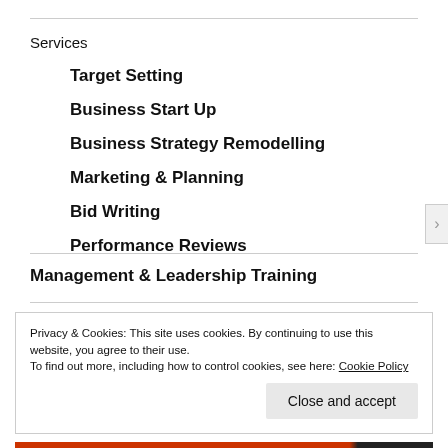Services
Target Setting
Business Start Up
Business Strategy Remodelling
Marketing & Planning
Bid Writing
Performance Reviews
Management & Leadership Training
Privacy & Cookies: This site uses cookies. By continuing to use this website, you agree to their use.
To find out more, including how to control cookies, see here: Cookie Policy
Close and accept